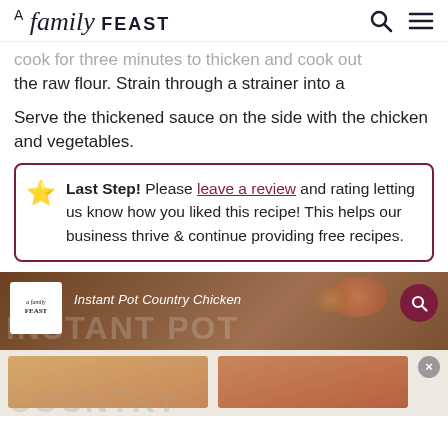A family FEAST
cook for three minutes to thicken and cook out the raw flour. Strain through a strainer into a gravy boat.
Serve the thickened sauce on the side with the chicken and vegetables.
Last Step! Please leave a review and rating letting us know how you liked this recipe! This helps our business thrive & continue providing free recipes.
[Figure (photo): Instant Pot Country Chicken promotional image with logo overlay and large watermark text]